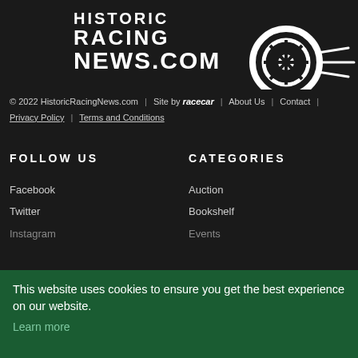[Figure (logo): Historic Racing News.com logo with stylized race car wheel/tire graphic on dark background]
© 2022 HistoricRacingNews.com | Site by racecar | About Us | Contact | Privacy Policy | Terms and Conditions
FOLLOW US
CATEGORIES
Facebook
Twitter
Instagram
Auction
Bookshelf
Events
On this Day
Racing
LINKS
Home
News
This website uses cookies to ensure you get the best experience on our website. Learn more
I ACCEPT